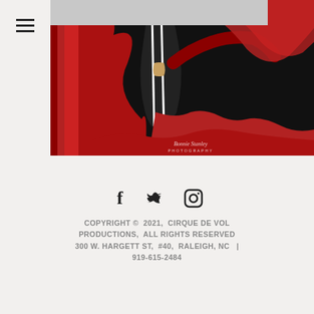[Figure (photo): Aerial silk performer in black and red costume against dark background, photo credited to Bonnie Stanley Photography]
[Figure (infographic): Social media icons: Facebook (f), Twitter (bird), Instagram (camera)]
COPYRIGHT © 2021, CIRQUE DE VOL PRODUCTIONS, ALL RIGHTS RESERVED 300 W. HARGETT ST, #40, RALEIGH, NC | 919-615-2484